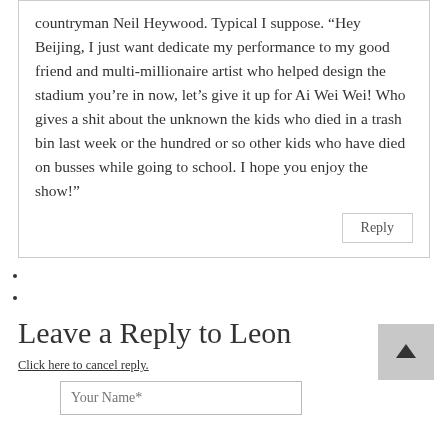countryman Neil Heywood. Typical I suppose. “Hey Beijing, I just want dedicate my performance to my good friend and multi-millionaire artist who helped design the stadium you’re in now, let’s give it up for Ai Wei Wei! Who gives a shit about the unknown the kids who died in a trash bin last week or the hundred or so other kids who have died on busses while going to school. I hope you enjoy the show!”
Reply
Leave a Reply to Leon
Click here to cancel reply.
Your Name*